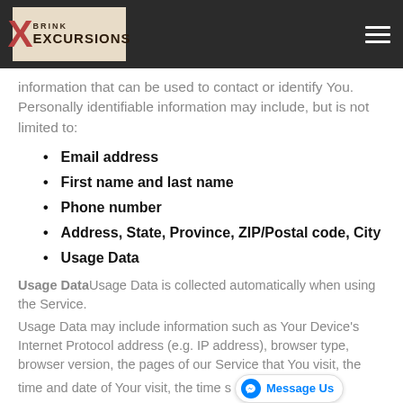Brink Excursions logo and navigation bar
information that can be used to contact or identify You. Personally identifiable information may include, but is not limited to:
Email address
First name and last name
Phone number
Address, State, Province, ZIP/Postal code, City
Usage Data
Usage DataUsage Data is collected automatically when using the Service.
Usage Data may include information such as Your Device's Internet Protocol address (e.g. IP address), browser type, browser version, the pages of our Service that You visit, the time and date of Your visit, the time s[Message Us]pages, unique device identifiers and other diagnostic data.